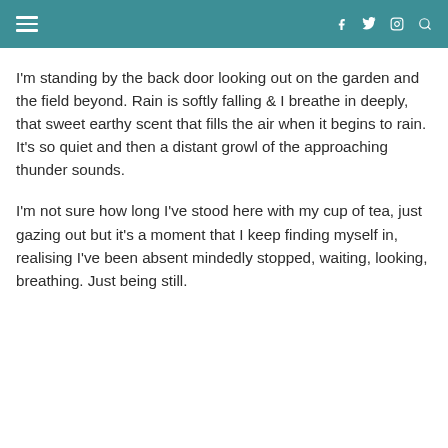Navigation header with hamburger menu and social icons (Facebook, Twitter, Instagram, Search)
I'm standing by the back door looking out on the garden and the field beyond. Rain is softly falling & I breathe in deeply, that sweet earthy scent that fills the air when it begins to rain. It's so quiet and then a distant growl of the approaching thunder sounds.
I'm not sure how long I've stood here with my cup of tea, just gazing out but it's a moment that I keep finding myself in, realising I've been absent mindedly stopped, waiting, looking, breathing. Just being still.